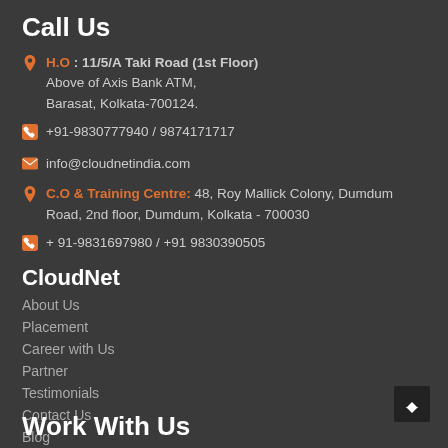Call Us
H.O : 11/5/A Taki Road (1st Floor) Above of Axis Bank ATM, Barasat, Kolkata-700124.
+91-9830777940 / 9874171717
info@cloudnetindia.com
C.O & Training Centre: 48, Roy Mallick Colony, Dumdum Road, 2nd floor, Dumdum, Kolkata - 700030
+ 91-9831697980 / +91 9830390505
CloudNet
About Us
Placement
Career with Us
Partner
Testimonials
Contact Us
Blog
Work With Us